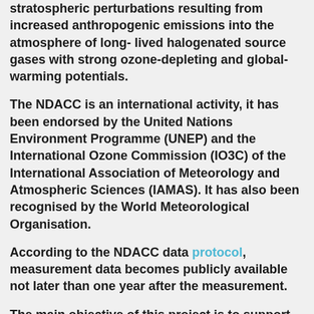stratospheric perturbations resulting from increased anthropogenic emissions into the atmosphere of long- lived halogenated source gases with strong ozone-depleting and global-warming potentials.
The NDACC is an international activity, it has been endorsed by the United Nations Environment Programme (UNEP) and the International Ozone Commission (IO3C) of the International Association of Meteorology and Atmospheric Sciences (IAMAS). It has also been recognised by the World Meteorological Organisation.
According to the NDACC data protocol, measurement data becomes publicly available not later than one year after the measurement.
The main objective of this project is to support participating NDACC PIs to make their data available more rapidly. A second objective is to provide support to the NDACC PIs such that their data is made available in the latest GEOMS data format and satisfies the necessary quality requirements for use in model validation. A detailed description of the QC